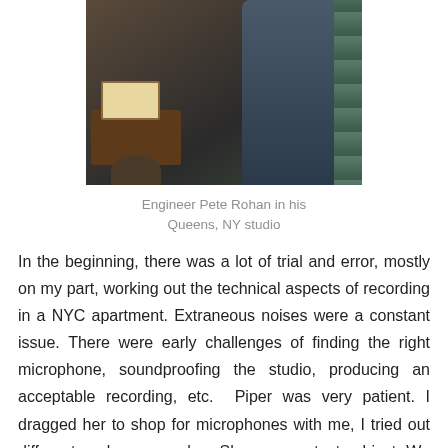[Figure (photo): Engineer Pete Rohan standing in his Queens, NY recording studio, viewed from behind, with acoustic foam panels on the wall and a music stand with sheet music visible]
Engineer Pete Rohan in his Queens, NY studio
In the beginning, there was a lot of trial and error, mostly on my part, working out the technical aspects of recording in a NYC apartment. Extraneous noises were a constant issue. There were early challenges of finding the right microphone, soundproofing the studio, producing an acceptable recording, etc.  Piper was very patient. I dragged her to shop for microphones with me, I tried out different enclosures on her. She was my test subject. We soon